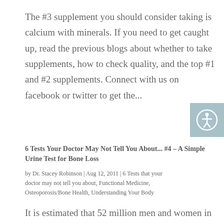The #3 supplement you should consider taking is calcium with minerals. If you need to get caught up, read the previous blogs about whether to take supplements, how to check quality, and the top #1 and #2 supplements. Connect with us on facebook or twitter to get the...
[Figure (other): Accessibility icon button - circular icon with person symbol on light blue/teal square background]
6 Tests Your Doctor May Not Tell You About... #4 – A Simple Urine Test for Bone Loss
by Dr. Stacey Robinson | Aug 12, 2011 | 6 Tests that your doctor may not tell you about, Functional Medicine, Osteoporosis/Bone Health, Understanding Your Body
It is estimated that 52 million men and women in